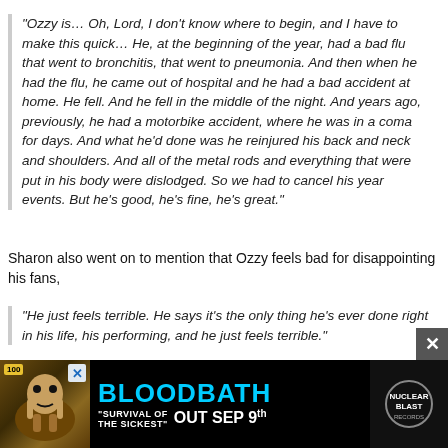“Ozzy is… Oh, Lord, I don’t know where to begin, and I have to make this quick… He, at the beginning of the year, had a bad flu that went to bronchitis, that went to pneumonia. And then when he had the flu, he came out of hospital and he had a bad accident at home. He fell. And he fell in the middle of the night. And years ago, previously, he had a motorbike accident, where he was in a coma for days. And what he’d done was he reinjured his back and neck and shoulders. And all of the metal rods and everything that were put in his body were dislodged. So we had to cancel his year events. But he’s good, he’s fine, he’s great.”
Sharon also went on to mention that Ozzy feels bad for disappointing his fans,
“He just feels terrible. He says it’s the only thing he’s ever done right in his life, his performing, and he just feels terrible.”
We all wish Ozzy a speedy recovery!
You can…
https://www.youtube.com/watch?v=y...
[Figure (other): Advertisement banner for Bloodbath 'Survival of the Sickest' album, out Sep 9th]